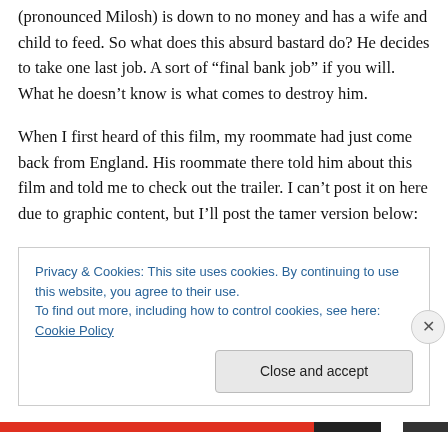(pronounced Milosh) is down to no money and has a wife and child to feed. So what does this absurd bastard do? He decides to take one last job. A sort of “final bank job” if you will. What he doesn’t know is what comes to destroy him.
When I first heard of this film, my roommate had just come back from England. His roommate there told him about this film and told me to check out the trailer. I can’t post it on here due to graphic content, but I’ll post the tamer version below:
Privacy & Cookies: This site uses cookies. By continuing to use this website, you agree to their use.
To find out more, including how to control cookies, see here: Cookie Policy